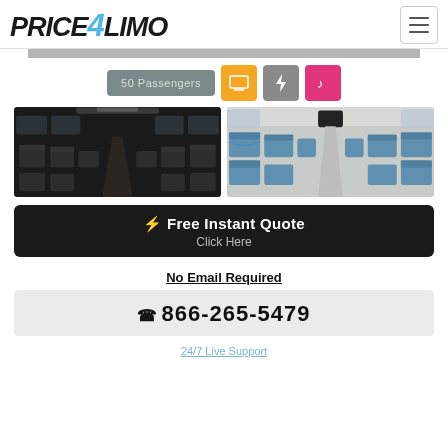[Figure (logo): Price4Limo logo in italic bold black text with a blue stylized '4']
[Figure (photo): Interior of a motor coach with rows of dark leather seats viewed from the rear]
[Figure (photo): Interior of a motor coach with blue patterned fabric seats viewed from the front]
50 Passengers
⚡ Free Instant Quote
Click Here
No Email Required
866-265-5479
24/7 Live Support